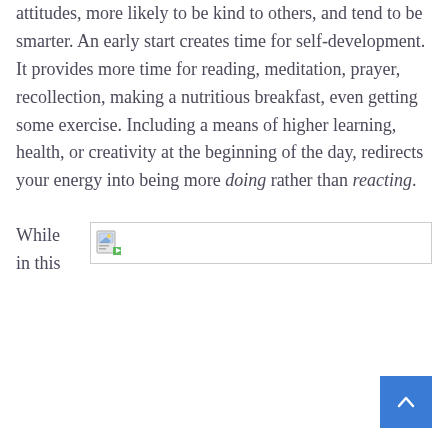attitudes, more likely to be kind to others, and tend to be smarter. An early start creates time for self-development. It provides more time for reading, meditation, prayer, recollection, making a nutritious breakfast, even getting some exercise. Including a means of higher learning, health, or creativity at the beginning of the day, redirects your energy into being more doing rather than reacting.
While in this
[Figure (photo): Broken image placeholder with a small document/image icon in the top-left corner, shown inside a bordered rectangle.]